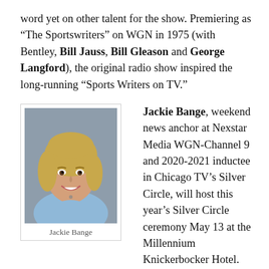word yet on other talent for the show. Premiering as “The Sportswriters” on WGN in 1975 (with Bentley, Bill Jauss, Bill Gleason and George Langford), the original radio show inspired the long-running “Sports Writers on TV.”
[Figure (photo): Headshot of Jackie Bange, a blonde woman smiling, wearing a light blue top]
Jackie Bange
Jackie Bange, weekend news anchor at Nexstar Media WGN-Channel 9 and 2020-2021 inductee in Chicago TV’s Silver Circle, will host this year’s Silver Circle ceremony May 13 at the Millennium Knickerbocker Hotel.
Sponsored by the Chicago/Midwest chapter of the National Academy of Television Arts and Sciences, the event will honor Mary Margaret Bartley,